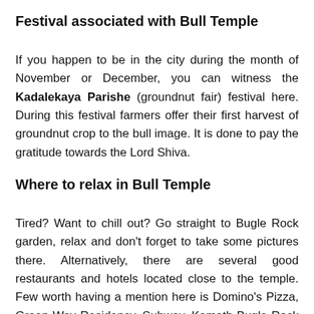Festival associated with Bull Temple
If you happen to be in the city during the month of November or December, you can witness the Kadalekaya Parishe (groundnut fair) festival here. During this festival farmers offer their first harvest of groundnut crop to the bull image. It is done to pay the gratitude towards the Lord Shiva.
Where to relax in Bull Temple
Tired? Want to chill out? Go straight to Bugle Rock garden, relax and don’t forget to take some pictures there. Alternatively, there are several good restaurants and hotels located close to the temple. Few worth having a mention here is Domino’s Pizza, Green Way Residency, Subway, Kamath Bugle Rock Restaurant, Halli